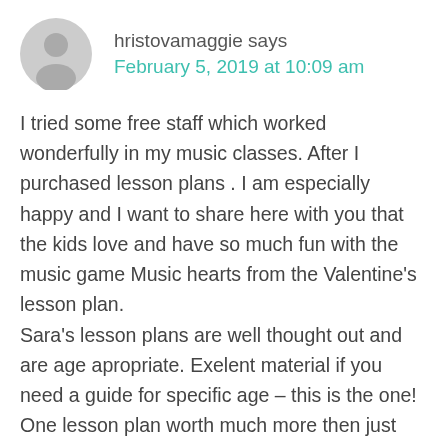[Figure (illustration): Generic user avatar icon — circular grey silhouette of a person]
hristovamaggie says
February 5, 2019 at 10:09 am
I tried some free staff which worked wonderfully in my music classes. After I purchased lesson plans . I am especially happy and I want to share here with you that the kids love and have so much fun with the music game Music hearts from the Valentine's lesson plan.
Sara's lesson plans are well thought out and are age apropriate. Exelent material if you need a guide for specific age – this is the one!
One lesson plan worth much more then just